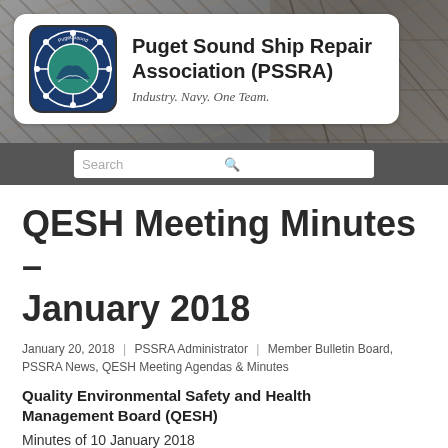[Figure (logo): Puget Sound Ship Repair Association (PSSRA) logo with organization name and tagline on white card over aerial ship photo background with search bar]
QESH Meeting Minutes – January 2018
January 20, 2018 | PSSRA Administrator | Member Bulletin Board, PSSRA News, QESH Meeting Agendas & Minutes
Quality Environmental Safety and Health Management Board (QESH)
Minutes of 10 January 2018
Details (action items in bold)